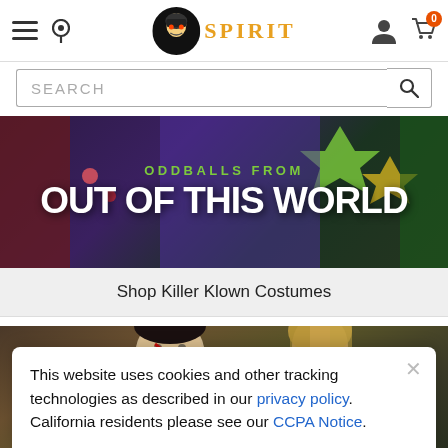[Figure (screenshot): Spirit Halloween website header with hamburger menu, location icon, Spirit logo with grim reaper mascot, user icon, and shopping cart with 0 badge]
[Figure (screenshot): Search bar with SEARCH placeholder text and magnifying glass icon]
[Figure (photo): Dark promotional banner with colorful Killer Klown characters in costume]
ODDBALLS FROM
OUT OF THIS WORLD
Shop Killer Klown Costumes
[Figure (photo): Horror-themed photo showing person in Jason Voorhees hockey mask and woman with blonde hair]
This website uses cookies and other tracking technologies as described in our privacy policy. California residents please see our CCPA Notice.